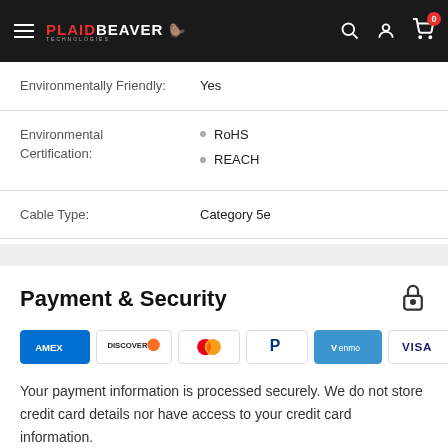PLAIDBEAVER TECHNOLOGIES — navigation header
| Property | Value |
| --- | --- |
| Environmentally Friendly: | Yes |
| Environmental Certification: | RoHS
REACH |
| Cable Type: | Category 5e |
Payment & Security
[Figure (logo): Payment method logos: American Express, Discover, Mastercard, PayPal, Venmo, Visa]
Your payment information is processed securely. We do not store credit card details nor have access to your credit card information.